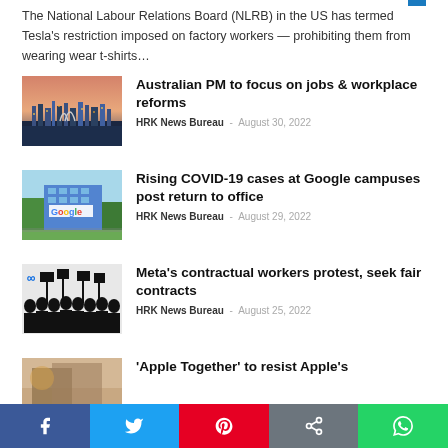The National Labour Relations Board (NLRB) in the US has termed Tesla's restriction imposed on factory workers — prohibiting them from wearing wear t-shirts…
[Figure (photo): Sydney Opera House and city skyline at dusk with water reflection]
Australian PM to focus on jobs & workplace reforms
HRK News Bureau - August 30, 2022
[Figure (photo): Google campus building with Google sign and trees]
Rising COVID-19 cases at Google campuses post return to office
HRK News Bureau - August 29, 2022
[Figure (photo): Silhouettes of protesters with signs including Meta logo]
Meta's contractual workers protest, seek fair contracts
HRK News Bureau - August 25, 2022
[Figure (photo): Partial image for Apple Together article]
'Apple Together' to resist Apple's
Social share bar: Facebook, Twitter, Pinterest, Share, WhatsApp